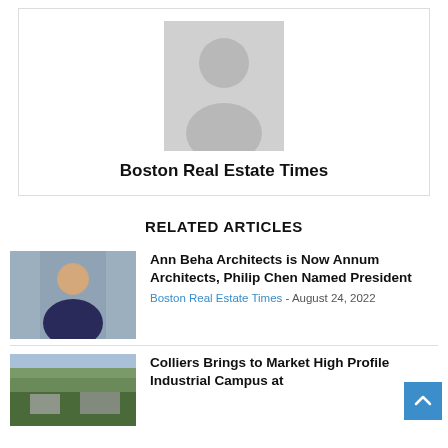[Figure (illustration): Grey placeholder avatar with person silhouette icon]
Boston Real Estate Times
RELATED ARTICLES
[Figure (photo): Photo of a woman in a dark top, interior background]
Ann Beha Architects is Now Annum Architects, Philip Chen Named President
Boston Real Estate Times - August 24, 2022
[Figure (photo): Aerial photo of a wooded industrial campus]
Colliers Brings to Market High Profile Industrial Campus at